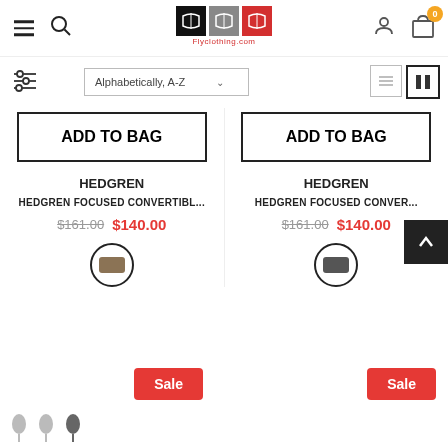[Figure (screenshot): E-commerce website header with logo Flyclothing.com, hamburger menu, search icon, user icon, and cart icon with badge showing 0]
[Figure (screenshot): Filter bar with sort dropdown showing Alphabetically A-Z and view toggle icons]
ADD TO BAG
ADD TO BAG
HEDGREN
HEDGREN
HEDGREN FOCUSED CONVERTIBL...
HEDGREN FOCUSED CONVER...
$161.00 $140.00
$161.00 $140.00
Sale
Sale